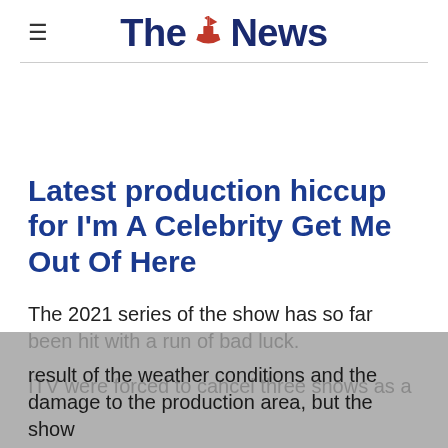The News
Latest production hiccup for I'm A Celebrity Get Me Out Of Here
The 2021 series of the show has so far been hit with a run of bad luck.
ITV were forced to cancel three shows as a result of the weather conditions and the damage to the production area, but the show